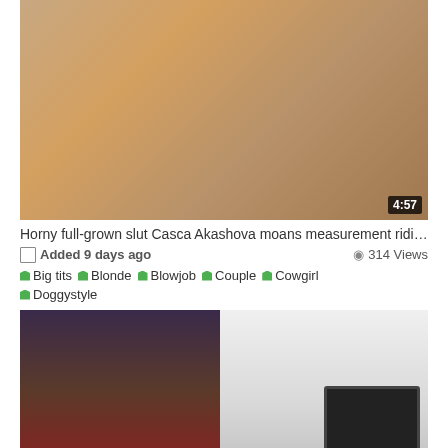[Figure (photo): Video thumbnail showing adult content with duration badge 4:57]
Horny full-grown slut Casca Akashova moans measurement ridin...
Added 9 days ago   314 Views
Big tits  Blonde  Blowjob  Couple  Cowgirl
Doggystyle
[Figure (photo): Video thumbnail showing two women, one in red, one in floral pattern, appearing to kiss; second thumbnail showing a room with a TV]